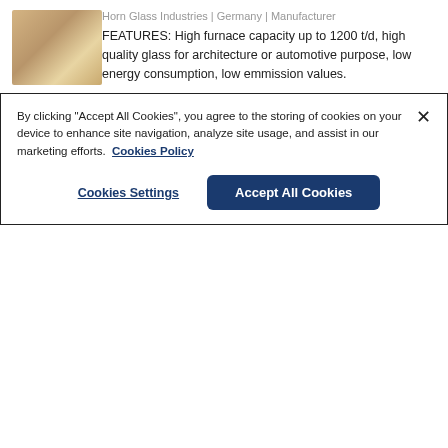[Figure (photo): Thumbnail image of a glass furnace interior, domed ceiling with glowing light]
Horn Glass Industries | Germany | Manufacturer
FEATURES: High furnace capacity up to 1200 t/d, high quality glass for architecture or automotive purpose, low energy consumption, low emmission values.
[Figure (photo): Aerial/overhead photo of a glass manufacturing plant facility with buildings and tanks]
Melting furnace - Technological plants turn key
Horn Glass Industries | Germany | Manufacturer
FEATURES: Project management, Batch plant, Melting furnace (HORN), Forming, Annealing,
By clicking "Accept All Cookies", you agree to the storing of cookies on your device to enhance site navigation, analyze site usage, and assist in our marketing efforts.  Cookies Policy
Cookies Settings
Accept All Cookies